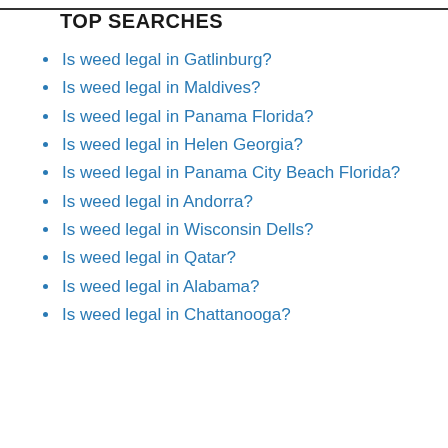TOP SEARCHES
Is weed legal in Gatlinburg?
Is weed legal in Maldives?
Is weed legal in Panama Florida?
Is weed legal in Helen Georgia?
Is weed legal in Panama City Beach Florida?
Is weed legal in Andorra?
Is weed legal in Wisconsin Dells?
Is weed legal in Qatar?
Is weed legal in Alabama?
Is weed legal in Chattanooga?